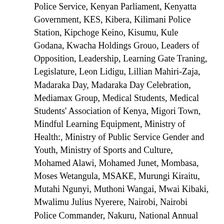Police Service, Kenyan Parliament, Kenyatta Government, KES, Kibera, Kilimani Police Station, Kipchoge Keino, Kisumu, Kule Godana, Kwacha Holdings Grouo, Leaders of Opposition, Leadership, Learning Gate Traning, Legislature, Leon Lidigu, Lillian Mahiri-Zaja, Madaraka Day, Madaraka Day Celebration, Mediamax Group, Medical Students, Medical Students' Association of Kenya, Migori Town, Mindful Learning Equipment, Ministry of Health:, Ministry of Public Service Gender and Youth, Ministry of Sports and Culture, Mohamed Alawi, Mohamed Junet, Mombasa, Moses Wetangula, MSAKE, Murungi Kiraitu, Mutahi Ngunyi, Muthoni Wangai, Mwai Kibaki, Mwalimu Julius Nyerere, Nairobi, Nairobi Police Commander, Nakuru, National Annual Budget, National Olympic Committee Kenya, National Youth Service, Nderitu, Nike, Nike Corporation, Nike Free, Nike Kits, Nike Shop, NOCK, NOCK Secretary-General, NTV, NYS, NYS Fund, ODM, Okoa Kenya, Olympian, Opposition, Opposition Demonstration, Orange Democratic Movement, P.Muite & Associates, Paul Onje, Peaceful, People Daily, President Kenyatta, President Kibaki, Prof. Mutahi Ngunyi, Raila